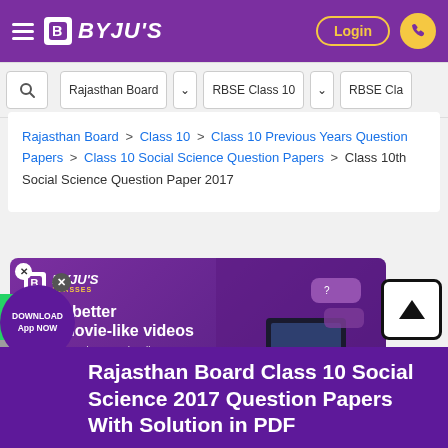[Figure (screenshot): BYJU'S navigation bar with hamburger menu, BYJU'S logo, Login button and phone icon on purple background]
[Figure (screenshot): Search bar row with search icon, Rajasthan Board dropdown, RBSE Class 10 dropdown, and RBSE Cla... partial dropdown]
Rajasthan Board > Class 10 > Class 10 Previous Years Question Papers > Class 10 Social Science Question Papers > Class 10th Social Science Question Paper 2017
[Figure (screenshot): BYJU'S Classes advertisement banner with purple background showing 'Learn better with movie-like videos. Concepts made easy, visually.' with Attend Trial Class button and student image]
Rajasthan Board Class 10 Social Science 2017 Question Papers With Solution in PDF